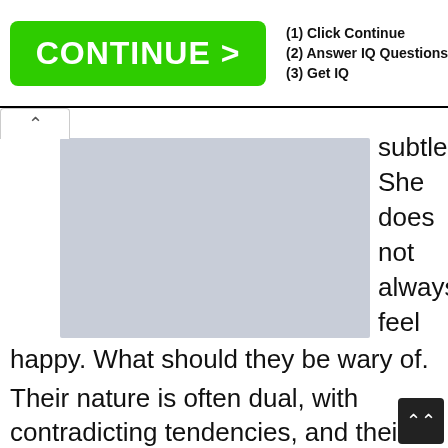[Figure (screenshot): Advertisement banner with green CONTINUE > button and steps: (1) Click Continue, (2) Answer IQ Questions, (3) Get IQ]
[Figure (photo): Gray rectangular image placeholder]
subtle. She does not always feel
happy. What should they be wary of.
Their nature is often dual, with contradicting tendencies, and their feelings can be at conflict with the mind. Active, often dissatisfied – they show a tendency for arguments and conflicts and might be in danger of injury, especially during the night